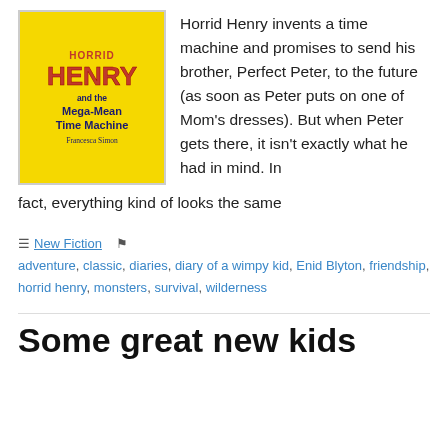[Figure (illustration): Book cover of 'Horrid Henry and the Mega-Mean Time Machine' by Francesca Simon. Yellow background with red bold title text and dark blue subtitle text.]
Horrid Henry invents a time machine and promises to send his brother, Perfect Peter, to the future (as soon as Peter puts on one of Mom’s dresses). But when Peter gets there, it isn’t exactly what he had in mind. In fact, everything kind of looks the same
New Fiction   adventure, classic, diaries, diary of a wimpy kid, Enid Blyton, friendship, horrid henry, monsters, survival, wilderness
Some great new kids